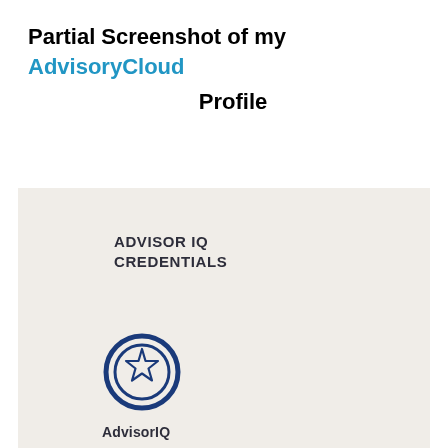Partial Screenshot of my AdvisoryCloud Profile
[Figure (screenshot): Partial screenshot of an AdvisoryCloud profile page showing an 'ADVISOR IQ CREDENTIALS' section with a blue circular badge/medal icon and partial text 'AdvisorIQ' below it on a light beige/cream background.]